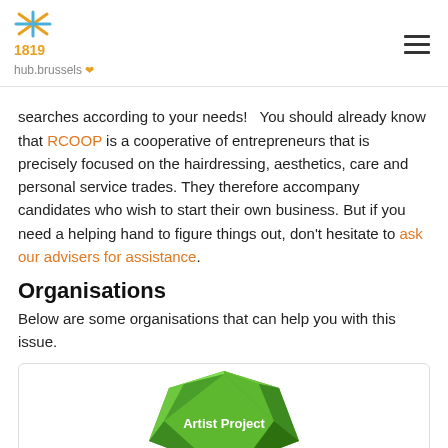1819 hub.brussels
searches according to your needs!   You should already know that RCOOP is a cooperative of entrepreneurs that is precisely focused on the hairdressing, aesthetics, care and personal service trades. They therefore accompany candidates who wish to start their own business. But if you need a helping hand to figure things out, don't hesitate to ask our advisers for assistance.
Organisations
Below are some organisations that can help you with this issue.
[Figure (logo): Artist Project green gem/polygon logo with white text 'Artist Project']